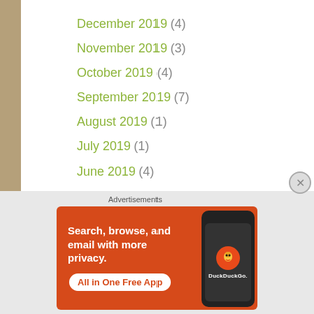December 2019 (4)
November 2019 (3)
October 2019 (4)
September 2019 (7)
August 2019 (1)
July 2019 (1)
June 2019 (4)
May 2019 (5)
Advertisements
[Figure (screenshot): DuckDuckGo advertisement banner: orange background with white text 'Search, browse, and email with more privacy. All in One Free App' and DuckDuckGo logo on a phone mockup]